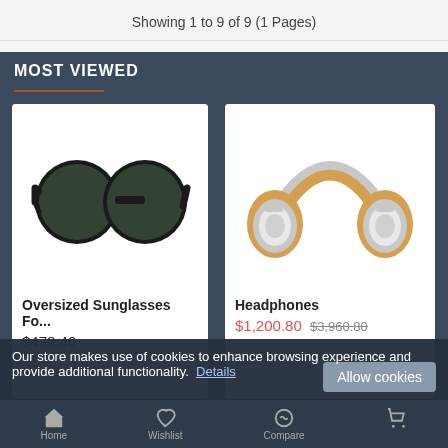Showing 1 to 9 of 9 (1 Pages)
MOST VIEWED
[Figure (photo): Oversized round black sunglasses product photo on white background]
Oversized Sunglasses Fo...
$478.40
[Figure (photo): Yellow/tan over-ear headphones with silver accents product photo on white background]
Headphones
$1,200.80 $3,960.80
Our store makes use of cookies to enhance browsing experience and provide additional functionality. Details
Allow cookies